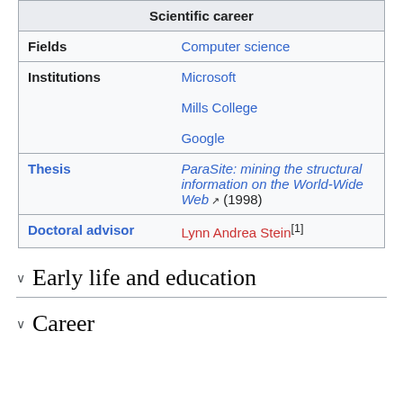| Scientific career |  |
| --- | --- |
| Fields | Computer science |
| Institutions | Microsoft
Mills College
Google |
| Thesis | ParaSite: mining the structural information on the World-Wide Web (1998) |
| Doctoral advisor | Lynn Andrea Stein[1] |
Early life and education
Career